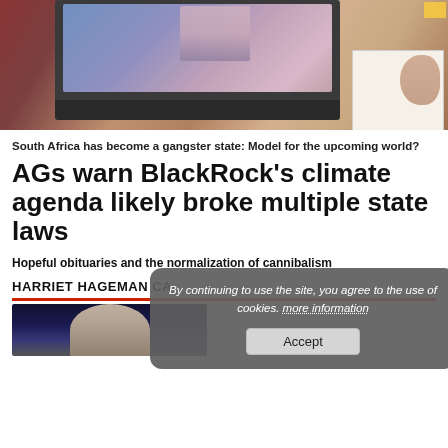[Figure (photo): Person in red plaid shirt working at a laptop with someone on a video call on screen; a notebook is visible to the right on a wooden desk]
South Africa has become a gangster state: Model for the upcoming world?
AGs warn BlackRock’s climate agenda likely broke multiple state laws
Hopeful obituaries and the normalization of cannibalism
HARRIET HAGEMAN CA...
[Figure (photo): Partial photo of a person against a blue/dark background]
By continuing to use the site, you agree to the use of cookies. more information
Accept